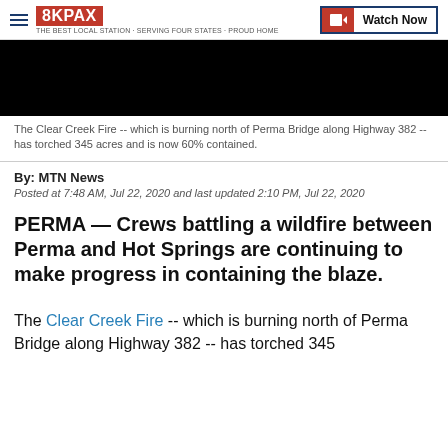8KPAX | Watch Now
[Figure (photo): Black video thumbnail/placeholder image for Clear Creek Fire news story]
The Clear Creek Fire -- which is burning north of Perma Bridge along Highway 382 -- has torched 345 acres and is now 60% contained.
By: MTN News
Posted at 7:48 AM, Jul 22, 2020 and last updated 2:10 PM, Jul 22, 2020
PERMA — Crews battling a wildfire between Perma and Hot Springs are continuing to make progress in containing the blaze.
The Clear Creek Fire -- which is burning north of Perma Bridge along Highway 382 -- has torched 345